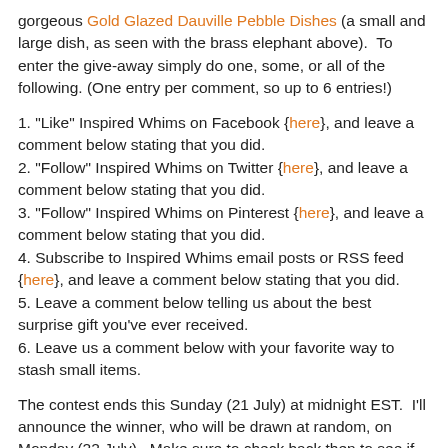gorgeous Gold Glazed Dauville Pebble Dishes (a small and large dish, as seen with the brass elephant above).  To enter the give-away simply do one, some, or all of the following. (One entry per comment, so up to 6 entries!)
1. "Like" Inspired Whims on Facebook {here}, and leave a comment below stating that you did.
2. "Follow" Inspired Whims on Twitter {here}, and leave a comment below stating that you did.
3. "Follow" Inspired Whims on Pinterest {here}, and leave a comment below stating that you did.
4. Subscribe to Inspired Whims email posts or RSS feed {here}, and leave a comment below stating that you did.
5. Leave a comment below telling us about the best surprise gift you've ever received.
6. Leave us a comment below with your favorite way to stash small items.
The contest ends this Sunday (21 July) at midnight EST.  I'll announce the winner, who will be drawn at random, on Monday (22 July).  Make sure to check back then to see if you win...